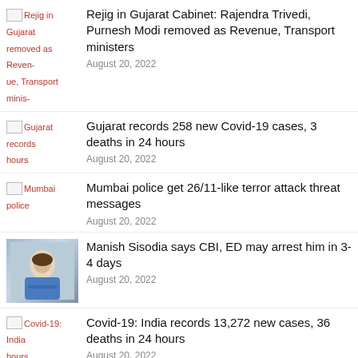Rejig in Gujarat Cabinet: Rajendra Trivedi, Purnesh Modi removed as Revenue, Transport ministers
August 20, 2022
Gujarat records 258 new Covid-19 cases, 3 deaths in 24 hours
August 20, 2022
Mumbai police get 26/11-like terror attack threat messages
August 20, 2022
Manish Sisodia says CBI, ED may arrest him in 3-4 days
August 20, 2022
Covid-19: India records 13,272 new cases, 36 deaths in 24 hours
August 20, 2022